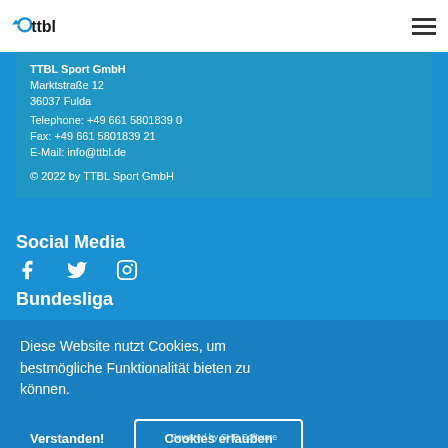ttbl logo and navigation menu
TTBL Sport GmbH
Marktstraße 12
36037 Fulda

Telephone: +49 661 5801839 0
Fax: +49 661 5801839 21
E-Mail: info@ttbl.de

© 2022 by TTBL Sport GmbH
Social Media
[Figure (illustration): Social media icons: Facebook, Twitter, Instagram]
Bundesliga
Diese Website nutzt Cookies, um bestmögliche Funktionalität bieten zu können.
Verstanden!    Cookies erlauben
Powered by SHP Software